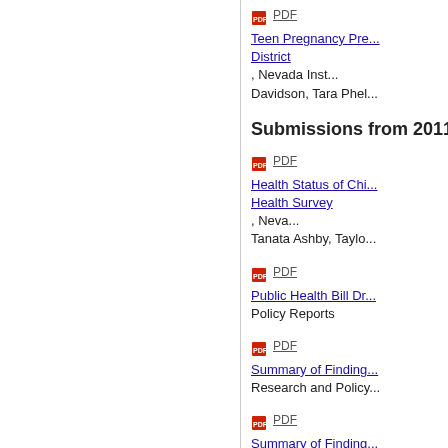PDF  Teen Pregnancy Pre... District, Nevada Inst... Davidson, Tara Phel...
Submissions from 2011
PDF  Health Status of Chi... Health Survey, Neva... Tanata Ashby, Taylo...
PDF  Public Health Bill Dr... Policy Reports
PDF  Summary of Finding... Research and Policy...
PDF  Summary of Finding... Nevada Kindergarte...
PDF  Teen Pregnancy Pre... District, Nevada Inst... Samantha Dawn Be...
We use cookies to help provide and enhance our service and tailor content. By closing this message, you agree to the use of cookies.
Close